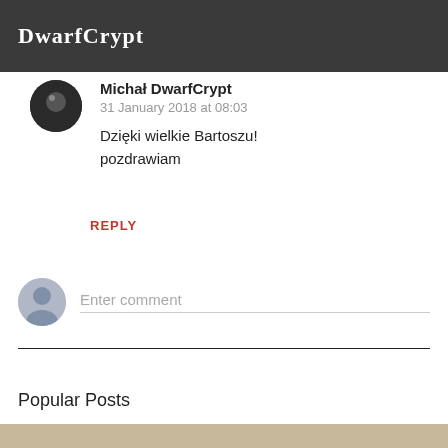DwarfCrypt
Michał DwarfCrypt
31 January 2018 at 08:03
Dzięki wielkie Bartoszu! pozdrawiam
REPLY
Enter comment
Popular Posts